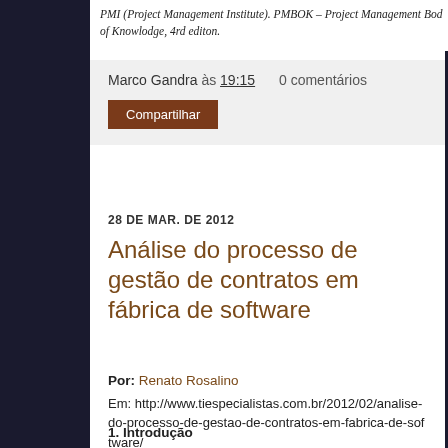PMI (Project Management Institute). PMBOK – Project Management Bod of Knowlodge, 4rd editon.
Marco Gandra às 19:15   0 comentários
Compartilhar
28 DE MAR. DE 2012
Análise do processo de gestão de contratos em fábrica de software
Por: Renato Rosalino
Em: http://www.tiespecialistas.com.br/2012/02/analise-do-processo-de-gestao-de-contratos-em-fabrica-de-software/
1.   Introdução